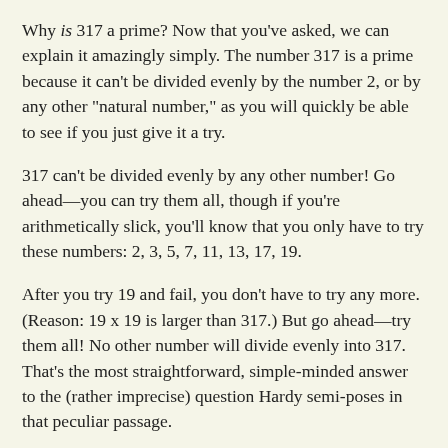Why is 317 a prime? Now that you've asked, we can explain it amazingly simply. The number 317 is a prime because it can't be divided evenly by the number 2, or by any other "natural number," as you will quickly be able to see if you just give it a try.
317 can't be divided evenly by any other number! Go ahead—you can try them all, though if you're arithmetically slick, you'll know that you only have to try these numbers: 2, 3, 5, 7, 11, 13, 17, 19.
After you try 19 and fail, you don't have to try any more. (Reason: 19 x 19 is larger than 317.) But go ahead—try them all! No other number will divide evenly into 317. That's the most straightforward, simple-minded answer to the (rather imprecise) question Hardy semi-poses in that peculiar passage.
Playing out of position, Hardy almost seems to fashion a tautology: 317 is a prime because it is so! Writing a general interest book, Goldstein presents this passage as if it will help us understand Hardy's "Platonist convictions" and the doctrine of Platonism as a whole.
We humans! If we weren't so inclined to defer to authority, we'd